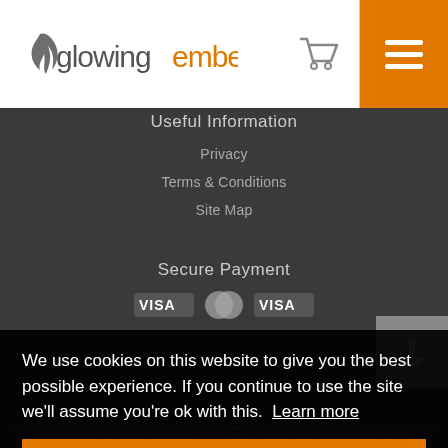[Figure (logo): Glowing Embers logo with flame icon, grey and orange text]
Useful Information
Privacy
Terms & Conditions
Site Map
Secure Payment
[Figure (illustration): Payment logos: VISA, Mastercard, VISA debit]
We use cookies on this website to give you the best possible experience. If you continue to use the site we'll assume you're ok with this.  Learn more
Got it!
Credit is provided by Novuna Personal Finance, a trading style of Mitsubishi HC Capital UK PLC. Authorised and regulated by the Financial Conduct Authority. Financial Services Register no. 704348. The register can be accessed through www.fca.org.uk